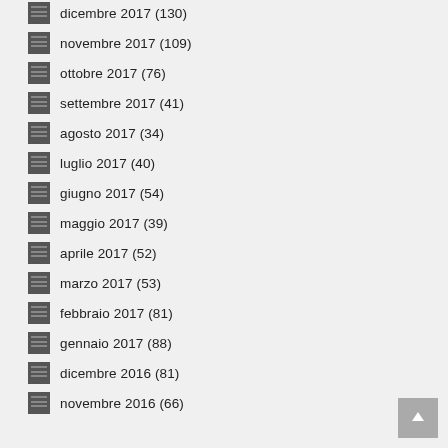dicembre 2017 (130)
novembre 2017 (109)
ottobre 2017 (76)
settembre 2017 (41)
agosto 2017 (34)
luglio 2017 (40)
giugno 2017 (54)
maggio 2017 (39)
aprile 2017 (52)
marzo 2017 (53)
febbraio 2017 (81)
gennaio 2017 (88)
dicembre 2016 (81)
novembre 2016 (66)